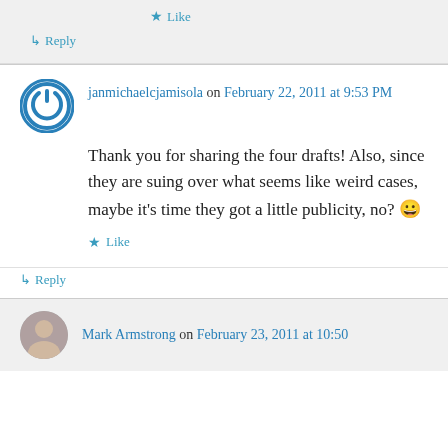★ Like
↳ Reply
janmichaelcjamisola on February 22, 2011 at 9:53 PM
Thank you for sharing the four drafts! Also, since they are suing over what seems like weird cases, maybe it's time they got a little publicity, no? 😀
★ Like
↳ Reply
Mark Armstrong on February 23, 2011 at 10:50